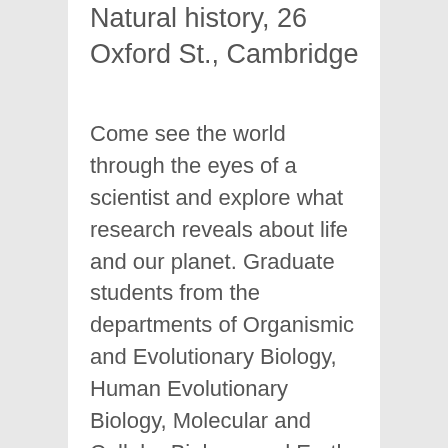Natural history, 26 Oxford St., Cambridge
Come see the world through the eyes of a scientist and explore what research reveals about life and our planet. Graduate students from the departments of Organismic and Evolutionary Biology, Human Evolutionary Biology, Molecular and Cellular Biology, and Earth and Planetary Sciences at Harvard University will share their research through hands-on activities in the museum galleries. This program is designed to actively engage families